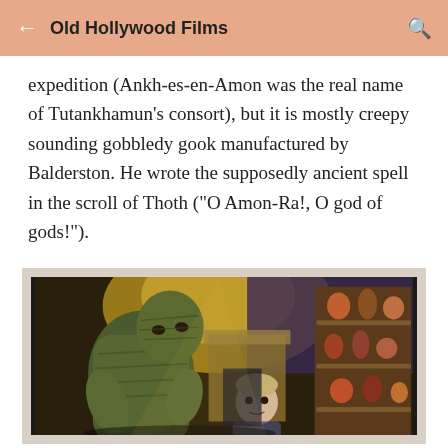Old Hollywood Films
expedition (Ankh-es-en-Amon was the real name of Tutankhamun's consort), but it is mostly creepy sounding gobbledy gook manufactured by Balderston. He wrote the supposedly ancient spell in the scroll of Thoth ("O Amon-Ra!, O god of gods!").
[Figure (photo): Framed movie still showing a mummy figure leaning over a scared person in a room with shelves of artifacts in the background, from an Old Hollywood film.]